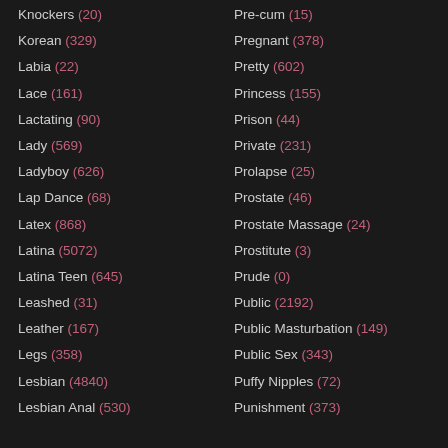Knockers (20)
Korean (329)
Labia (22)
Lace (161)
Lactating (90)
Lady (569)
Ladyboy (626)
Lap Dance (68)
Latex (868)
Latina (5072)
Latina Teen (645)
Leashed (31)
Leather (167)
Legs (358)
Lesbian (4840)
Lesbian Anal (530)
Pre-cum (15)
Pregnant (378)
Pretty (602)
Princess (155)
Prison (44)
Private (231)
Prolapse (25)
Prostate (46)
Prostate Massage (24)
Prostitute (3)
Prude (0)
Public (2192)
Public Masturbation (149)
Public Sex (343)
Puffy Nipples (72)
Punishment (373)